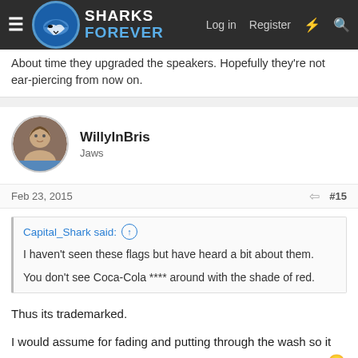Sharks Forever — Log in  Register
About time they upgraded the speakers. Hopefully they're not ear-piercing from now on.
WillyInBris
Jaws
Feb 23, 2015  #15
Capital_Shark said: ↑
I haven't seen these flags but have heard a bit about them.
You don't see Coca-Cola **** around with the shade of red.
Thus its trademarked.

I would assume for fading and putting through the wash so it ten years time when we wiln the Prem they will just be right 😛